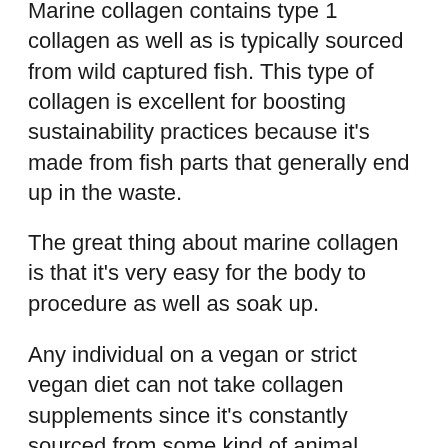Marine collagen contains type 1 collagen as well as is typically sourced from wild captured fish. This type of collagen is excellent for boosting sustainability practices because it's made from fish parts that generally end up in the waste.
The great thing about marine collagen is that it's very easy for the body to procedure as well as soak up.
Any individual on a vegan or strict vegan diet can not take collagen supplements since it's constantly sourced from some kind of animal product.
Nevertheless, unlike standard jelly, bovine collagen and also marine collagen do not